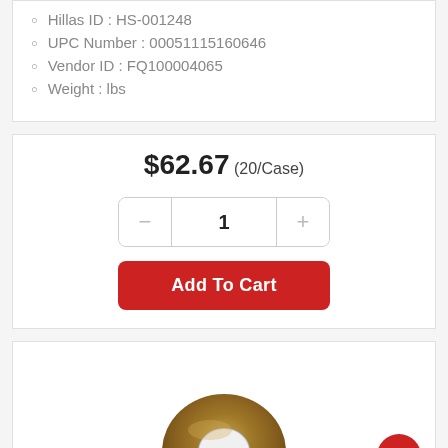Hillas ID : HS-001248
UPC Number : 00051115160646
Vendor ID : FQ100004065
Weight : lbs
$62.67 (20/Case)
1
Add To Cart
[Figure (photo): A metal washer (ring-shaped fastener) with a bronze/gold finish, partially visible at the bottom of the page.]